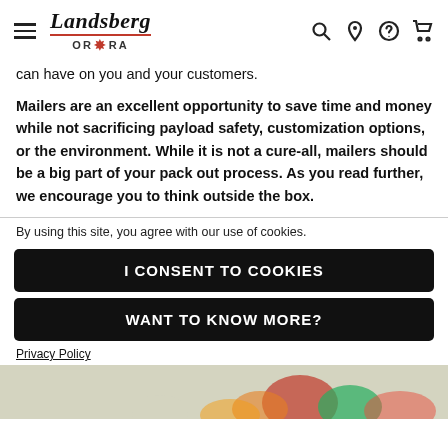Landsberg ORORA
can have on you and your customers.
Mailers are an excellent opportunity to save time and money while not sacrificing payload safety, customization options, or the environment. While it is not a cure-all, mailers should be a big part of your pack out process. As you read further, we encourage you to think outside the box.
By using this site, you agree with our use of cookies.
I CONSENT TO COOKIES
WANT TO KNOW MORE?
Privacy Policy
[Figure (photo): Partial view of colorful packaged products, bottom of page]